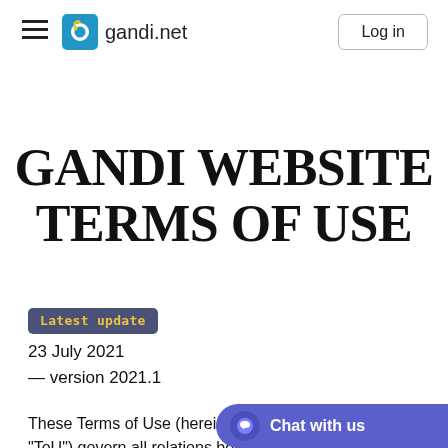gandi.net — Log in
GANDI WEBSITE TERMS OF USE
Latest update
23 July 2021
— version 2021.1
These Terms of Use (hereinafter "ToU") govern all relations betw…